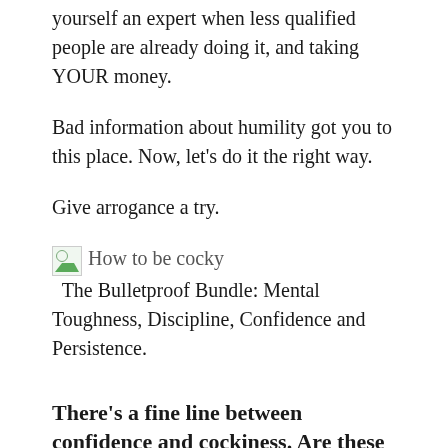yourself an expert when less qualified people are already doing it, and taking YOUR money.
Bad information about humility got you to this place. Now, let's do it the right way.
Give arrogance a try.
[Figure (illustration): Broken image placeholder with alt text 'How to be cocky' followed by text: The Bulletproof Bundle: Mental Toughness, Discipline, Confidence and Persistence.]
There's a fine line between confidence and cockiness. Are these body language mistakes pushing you right over it?